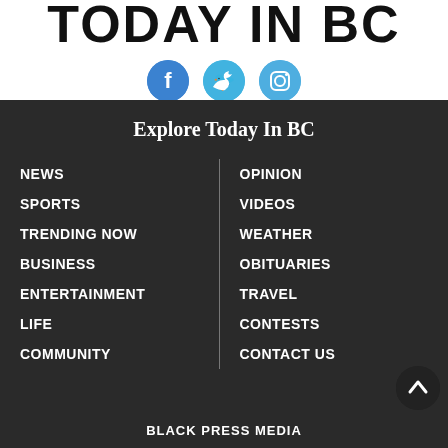TODAY IN BC
[Figure (illustration): Three social media icon circles: Facebook (blue), Twitter (light blue), Instagram (light blue)]
Explore Today In BC
NEWS
SPORTS
TRENDING NOW
BUSINESS
ENTERTAINMENT
LIFE
COMMUNITY
OPINION
VIDEOS
WEATHER
OBITUARIES
TRAVEL
CONTESTS
CONTACT US
BLACK PRESS MEDIA